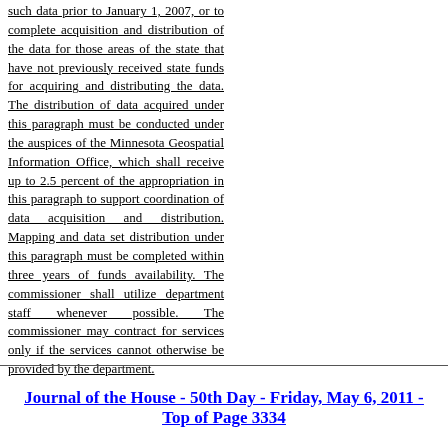such data prior to January 1, 2007, or to complete acquisition and distribution of the data for those areas of the state that have not previously received state funds for acquiring and distributing the data. The distribution of data acquired under this paragraph must be conducted under the auspices of the Minnesota Geospatial Information Office, which shall receive up to 2.5 percent of the appropriation in this paragraph to support coordination of data acquisition and distribution. Mapping and data set distribution under this paragraph must be completed within three years of funds availability. The commissioner shall utilize department staff whenever possible. The commissioner may contract for services only if the services cannot otherwise be provided by the department.
Journal of the House - 50th Day - Friday, May 6, 2011 - Top of Page 3334